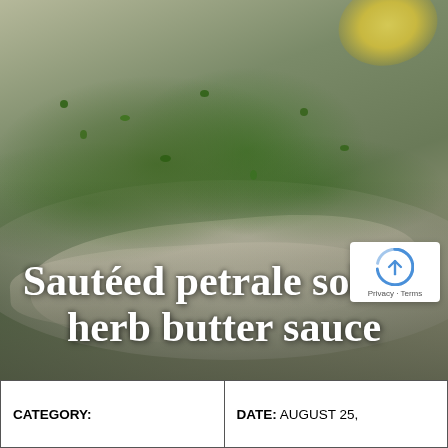[Figure (photo): A plate of sautéed petrale sole fish topped with chopped green herbs and garnishes, photographed from above on a light plate background with blurred surroundings]
Sautéed petrale sole in herb butter sauce
| CATEGORY: | DATE: AUGUST 25, |
| --- | --- |